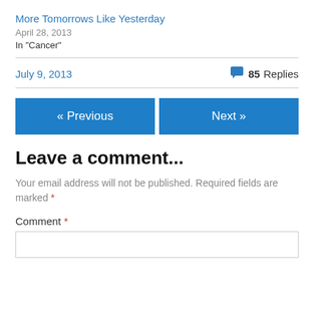More Tomorrows Like Yesterday
April 28, 2013
In "Cancer"
July 9, 2013
85 Replies
« Previous
Next »
Leave a comment...
Your email address will not be published. Required fields are marked *
Comment *